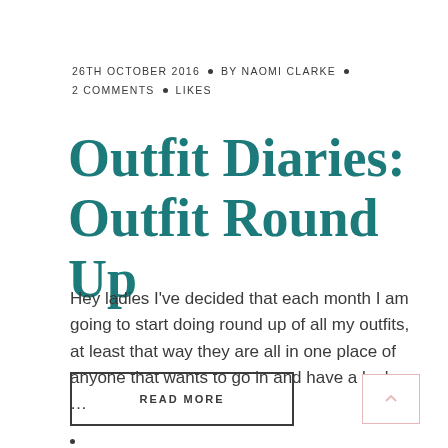26TH OCTOBER 2016 • BY NAOMI CLARKE • 2 COMMENTS • LIKES
Outfit Diaries: Outfit Round Up
Hey ladies I've decided that each month I am going to start doing round up of all my outfits, at least that way they are all in one place of anyone that wants to go in and have a look or …
READ MORE